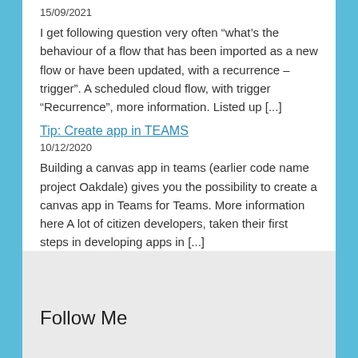15/09/2021
I get following question very often “what’s the behaviour of a flow that has been imported as a new flow or have been updated, with a recurrence – trigger”. A scheduled cloud flow, with trigger “Recurrence”, more information. Listed up [...]
Tip: Create app in TEAMS
10/12/2020
Building a canvas app in teams (earlier code name project Oakdale) gives you the possibility to create a canvas app in Teams for Teams. More information here A lot of citizen developers, taken their first steps in developing apps in [...]
Follow Me